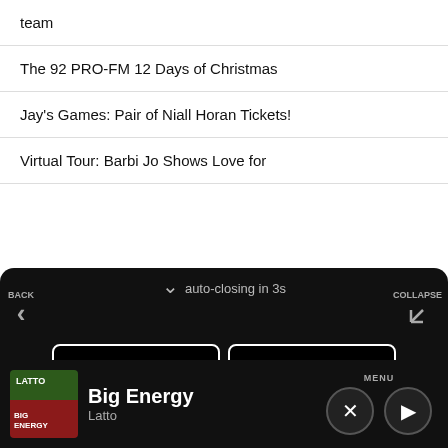team
The 92 PRO-FM 12 Days of Christmas
Jay's Games: Pair of Niall Horan Tickets!
Virtual Tour: Barbi Jo Shows Love for...
[Figure (screenshot): Mobile app navigation overlay on dark background with buttons: PLAYLIST, TOP HITS, LISTEN LIVE, MY VOTES, CONTROLS; auto-closing in 3s message; Data opt-out toggle; ad banner for 'Adopt a Cat Now'; now-playing bar showing Big Energy by Latto]
auto-closing in 3s
BACK
COLLAPSE
PLAYLIST
TOP HITS
LISTEN LIVE
MY VOTES
CONTROLS
Data opt-out
Big Energy
Latto
MENU